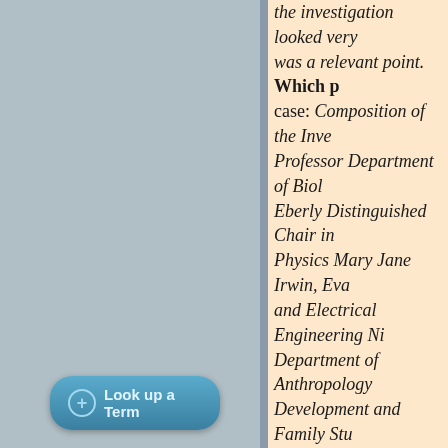the investigation looked very... was a relevant point. Which p... case: Composition of the Inve... Professor Department of Biol... Eberly Distinguished Chair in... Physics Mary Jane Irwin, Eva... and Electrical Engineering Ni... Department of Anthropology ... Development and Family Stu... Director of the Office for Rese... "whitewash?" How exactly did... how about an apology? You c... you're free to drag them throu... reveals other, easily available... misconduct investigations. Pe... chose the most inflammatory ... nothing to do with scientific re...
31. Doug Bostrom at 10:37 AM... For those with access to the N... Exactly where ATI would like ...
32. doug z at 10:45 AM on 15 Ju... doug_bostrom asked at 03:30... what?" What happens if Karo...
[Figure (other): Blue 'Look up a Term' button with plus circle icon at bottom left panel]